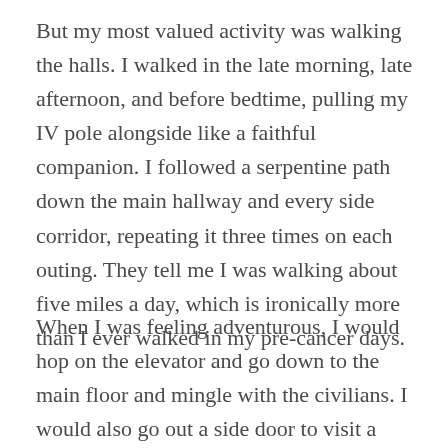But my most valued activity was walking the halls. I walked in the late morning, late afternoon, and before bedtime, pulling my IV pole alongside like a faithful companion. I followed a serpentine path down the main hallway and every side corridor, repeating it three times on each outing. They tell me I was walking about five miles a day, which is ironically more than I ever walked in my pre-cancer days.
When I was feeling adventurous, I would hop on the elevator and go down to the main floor and mingle with the civilians. I would also go out a side door to visit a garden area and feel the sun on my face. And sometimes I would march out